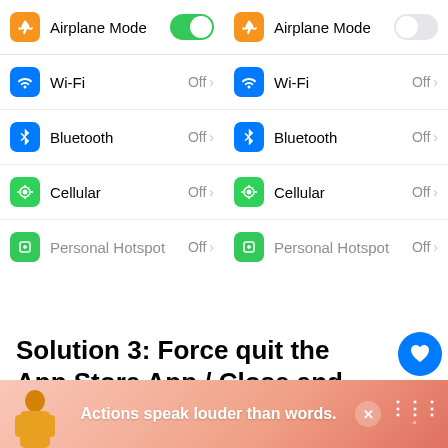[Figure (screenshot): Two side-by-side iOS Settings panels showing Airplane Mode (left: ON toggle green, right: OFF toggle gray), Wi-Fi Off, Bluetooth Off, Cellular Off, Personal Hotspot Off rows]
Solution 3: Force quit the App Store App / Close and Reopen.
Sometimes, the apps can behave strangely and no
[Figure (screenshot): Ad banner: Actions speak louder than words.]